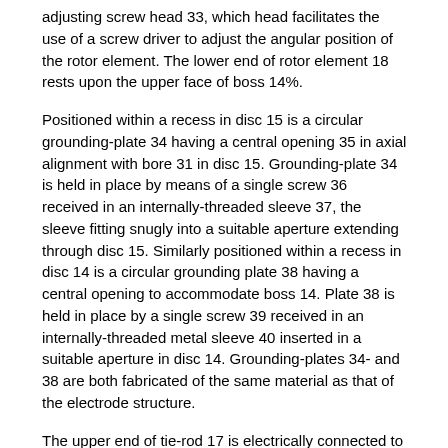adjusting screw head 33, which head facilitates the use of a screw driver to adjust the angular position of the rotor element. The lower end of rotor element 18 rests upon the upper face of boss 14%.
Positioned within a recess in disc 15 is a circular grounding-plate 34 having a central opening 35 in axial alignment with bore 31 in disc 15. Grounding-plate 34 is held in place by means of a single screw 36 received in an internally-threaded sleeve 37, the sleeve fitting snugly into a suitable aperture extending through disc 15. Similarly positioned within a recess in disc 14 is a circular grounding plate 38 having a central opening to accommodate boss 14. Plate 38 is held in place by a single screw 39 received in an internally-threaded metal sleeve 40 inserted in a suitable aperture in disc 14. Grounding-plates 34- and 38 are both fabricated of the same material as that of the electrode structure.
The upper end of tie-rod 17 is electrically connected to grounding-plate 34 with the aid of a flat metal link 41, the link being secured and electrically connected to the upper end of sleeve 37 by means of a bolt 42. In a similar manner the lower end of tie-rod 17 is electrically connected to